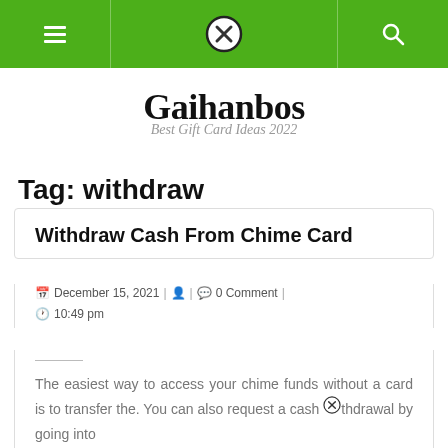[Figure (screenshot): Green navigation bar with hamburger menu icon on left, circular X close button in center (overlapping the bar), and search icon on right]
Gaihanbos
Best Gift Card Ideas 2022
Tag: withdraw
Withdraw Cash From Chime Card
December 15, 2021 | 0 Comment | 10:49 pm
The easiest way to access your chime funds without a card is to transfer the. You can also request a cash withdrawal by going into